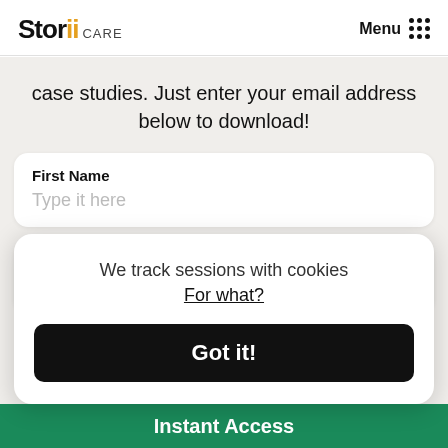Storii CARE | Menu
case studies. Just enter your email address below to download!
First Name
Type it here
Business Name
Your business' name here
We track sessions with cookies
For what?
Got it!
Instant Access